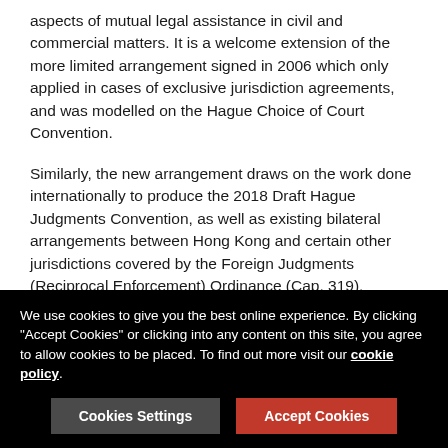aspects of mutual legal assistance in civil and commercial matters. It is a welcome extension of the more limited arrangement signed in 2006 which only applied in cases of exclusive jurisdiction agreements, and was modelled on the Hague Choice of Court Convention.
Similarly, the new arrangement draws on the work done internationally to produce the 2018 Draft Hague Judgments Convention, as well as existing bilateral arrangements between Hong Kong and certain other jurisdictions covered by the Foreign Judgments (Reciprocal Enforcement) Ordinance (Cap. 319).
Once brought into force by local legislation, the new arrangement will apply to all judgments in civil and commercial matters (both monetary and non-monetary) unless expressly excluded. The excluded areas include certain
We use cookies to give you the best online experience. By clicking "Accept Cookies" or clicking into any content on this site, you agree to allow cookies to be placed. To find out more visit our cookie policy.